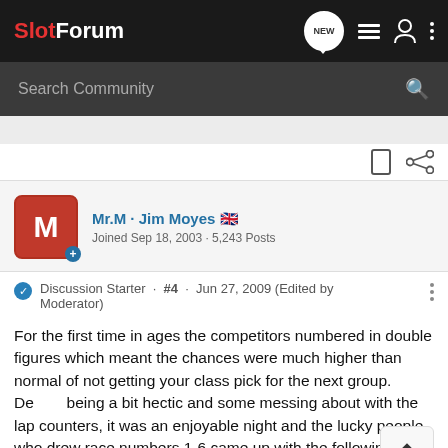SlotForum
Search Community
Mr.M · Jim Moyes 🇬🇧
Joined Sep 18, 2003 · 5,243 Posts
Discussion Starter · #4 · Jun 27, 2009 (Edited by Moderator)
For the first time in ages the competitors numbered in double figures which meant the chances were much higher than normal of not getting your class pick for the next group. Despite being a bit hectic and some messing about with the lap counters, it was an enjoyable night and the lucky people who drew race numbers 1-6 came up with the following classes;